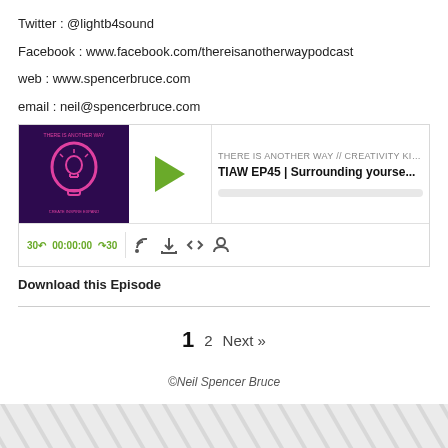Twitter : @lightb4sound
Facebook : www.facebook.com/thereisanotherwaypodcast
web : www.spencerbruce.com
email : neil@spencerbruce.com
[Figure (screenshot): Podcast player widget showing episode TIAW EP45 | Surrounding yourse... from THERE IS ANOTHER WAY // CREATIVITY KICKSTA. Player has thumbnail, play button, progress bar, time display 00:00:00, skip controls 30, and icons for RSS, download, embed, and share.]
Download this Episode
1  2  Next »
©Neil Spencer Bruce